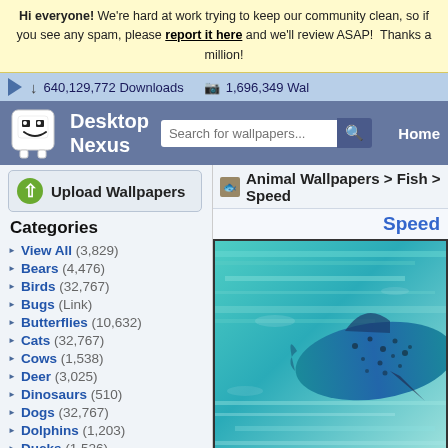Hi everyone! We're hard at work trying to keep our community clean, so if you see any spam, please report it here and we'll review ASAP! Thanks a million!
640,129,772 Downloads   1,696,349 Wal...
[Figure (logo): Desktop Nexus logo with robot mascot icon, search bar, and Home navigation]
Upload Wallpapers
Animal Wallpapers > Fish > Speed
Categories
View All (3,829)
Bears (4,476)
Birds (32,767)
Bugs (Link)
Butterflies (10,632)
Cats (32,767)
Cows (1,538)
Deer (3,025)
Dinosaurs (510)
Dogs (32,767)
Dolphins (1,203)
Ducks (1,526)
Elephants (1,302)
Fish (3,162)
Frogs (5,708)
Speed
[Figure (photo): Close-up photo of a fast-moving fish underwater with teal/blue water background showing motion blur]